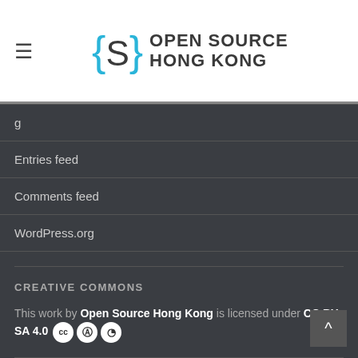Open Source Hong Kong
g (partial, cut off)
Entries feed
Comments feed
WordPress.org
CREATIVE COMMONS
This work by Open Source Hong Kong is licensed under CC BY-SA 4.0
ABOUT OPEN SOURCE HONG KONG
Established in 2006, Open Source Hong Kong is a community